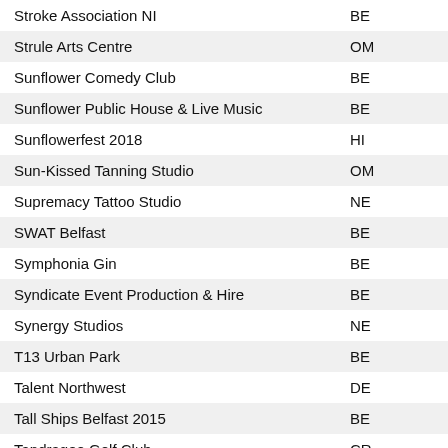| Name | Location |
| --- | --- |
| Stroke Association NI | BE |
| Strule Arts Centre | OM |
| Sunflower Comedy Club | BE |
| Sunflower Public House & Live Music | BE |
| Sunflowerfest 2018 | HI |
| Sun-Kissed Tanning Studio | OM |
| Supremacy Tattoo Studio | NE |
| SWAT Belfast | BE |
| Symphonia Gin | BE |
| Syndicate Event Production & Hire | BE |
| Synergy Studios | NE |
| T13 Urban Park | BE |
| Talent Northwest | DE |
| Tall Ships Belfast 2015 | BE |
| Tandragee Golf Club | CR |
| Taste & Tours | BE |
| Taste Of Dublin | DU |
| Tatt House | BE |